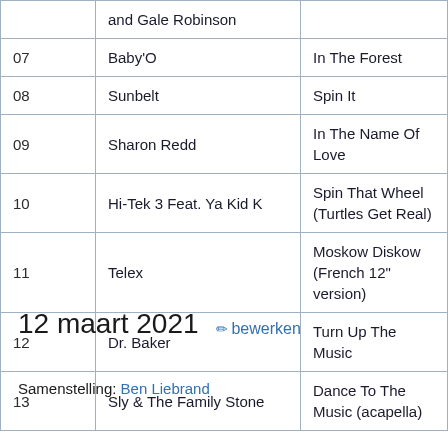| # | Artist | Title |
| --- | --- | --- |
|  | and Gale Robinson |  |
| 07 | Baby'O | In The Forest |
| 08 | Sunbelt | Spin It |
| 09 | Sharon Redd | In The Name Of Love |
| 10 | Hi-Tek 3 Feat. Ya Kid K | Spin That Wheel (Turtles Get Real) |
| 11 | Telex | Moskow Diskow (French 12" version) |
| 12 | Dr. Baker | Turn Up The Music |
| 13 | Sly & The Family Stone | Dance To The Music (acapella) |
12 maart 2021
Samenstelling: Ben Liebrand